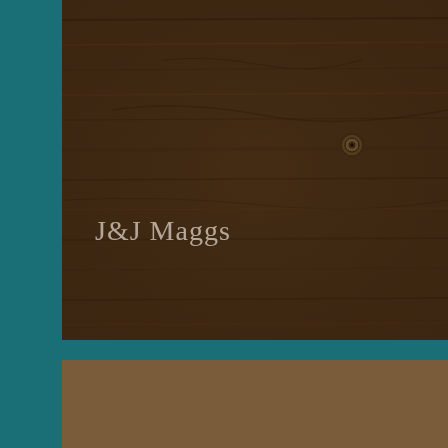[Figure (photo): Close-up photograph of a dark wooden plank surface with visible grain, worn texture, knots, and a small circular metal fitting (screw or bolt) embedded in the wood. The text 'J&J Maggs' is overlaid in light gray serif font on the left side.]
J&J Maggs
[Figure (photo): Close-up photograph of an antique wooden chest or trunk showing aged, weathered wood with a metal hasp/latch mechanism. The hardware includes a hinge, a clasp plate with a screw, and a loop fastener. The wood shows cracks and wear consistent with significant age.]